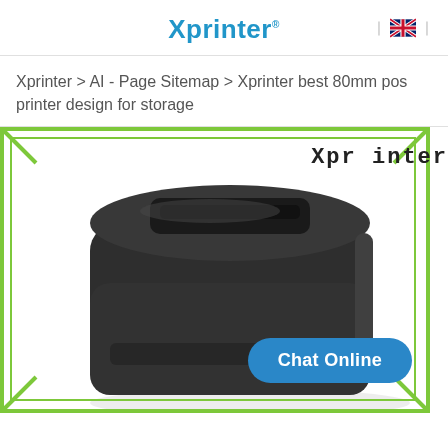Xprinter®
Xprinter > AI - Page Sitemap > Xprinter best 80mm pos printer design for storage
[Figure (photo): Product photo of a black 80mm POS thermal printer (Xprinter) shown at an angle, inside a green decorative border frame. A 'Chat Online' button overlay appears at the bottom right. 'Xprinter' watermark text in the top right corner of the image.]